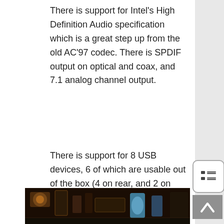There is support for Intel's High Definition Audio specification which is a great step up from the old AC'97 codec. There is SPDIF output on optical and coax, and 7.1 analog channel output.
There is support for 8 USB devices, 6 of which are usable out of the box (4 on rear, and 2 on bracket), and 3 Firewire ports (2x IEEE 1394b, and 1x IEE 1394a). IEEE 1394b is the new IEEE1394 standard that is twice as fast (800 MB/s vs 400 MB/s) and is backward compatible with the old standard (assuming you use the 4-pin firewire connections).
[Figure (photo): Motherboard / PCB close-up photo showing electronic components including capacitors and connectors]